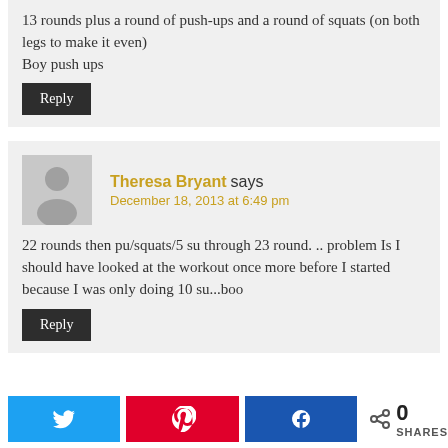13 rounds plus a round of push-ups and a round of squats (on both legs to make it even)
Boy push ups
Reply
Theresa Bryant says
December 18, 2013 at 6:49 pm
22 rounds then pu/squats/5 su through 23 round. .. problem Is I should have looked at the workout once more before I started because I was only doing 10 su...boo
Reply